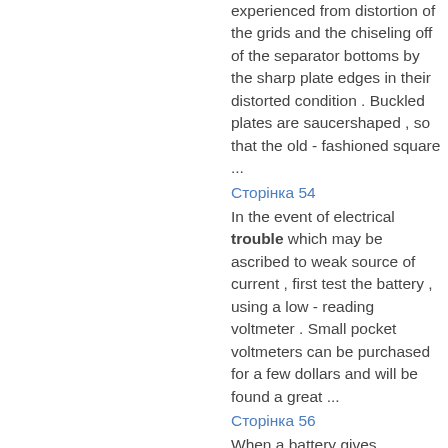experienced from distortion of the grids and the chiseling off of the separator bottoms by the sharp plate edges in their distorted condition . Buckled plates are saucershaped , so that the old - fashioned square ...
Сторінка 54
In the event of electrical trouble which may be ascribed to weak source of current , first test the battery , using a low - reading voltmeter . Small pocket voltmeters can be purchased for a few dollars and will be found a great ...
Сторінка 56
When a battery gives indication of low ...